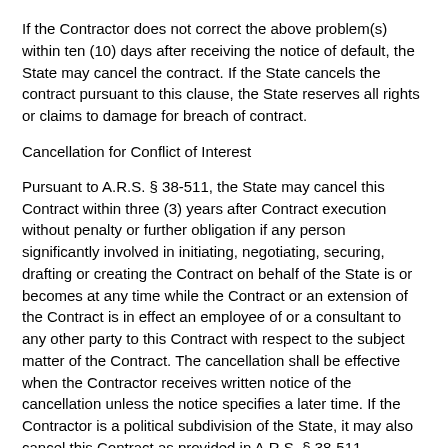If the Contractor does not correct the above problem(s) within ten (10) days after receiving the notice of default, the State may cancel the contract. If the State cancels the contract pursuant to this clause, the State reserves all rights or claims to damage for breach of contract.
Cancellation for Conflict of Interest
Pursuant to A.R.S. § 38-511, the State may cancel this Contract within three (3) years after Contract execution without penalty or further obligation if any person significantly involved in initiating, negotiating, securing, drafting or creating the Contract on behalf of the State is or becomes at any time while the Contract or an extension of the Contract is in effect an employee of or a consultant to any other party to this Contract with respect to the subject matter of the Contract. The cancellation shall be effective when the Contractor receives written notice of the cancellation unless the notice specifies a later time. If the Contractor is a political subdivision of the State, it may also cancel this Contract as provided in A.R.S. § 38-511.
Cancellation For Possession Of Weapons On State Property